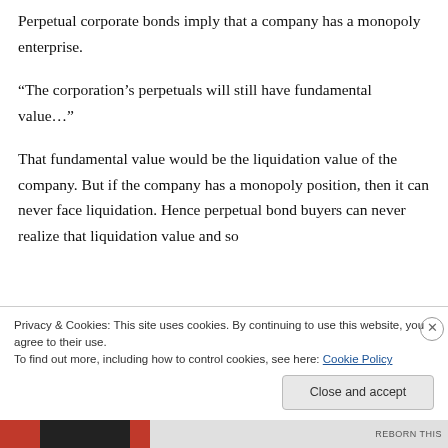Perpetual corporate bonds imply that a company has a monopoly enterprise.
“The corporation's perpetuals will still have fundamental value…”
That fundamental value would be the liquidation value of the company. But if the company has a monopoly position, then it can never face liquidation. Hence perpetual bond buyers can never realize that liquidation value and so
Privacy & Cookies: This site uses cookies. By continuing to use this website, you agree to their use.
To find out more, including how to control cookies, see here: Cookie Policy
Close and accept